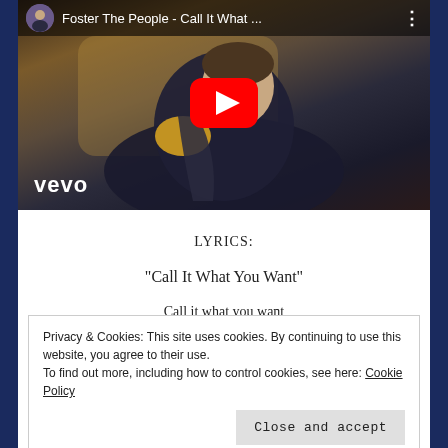[Figure (screenshot): YouTube video thumbnail for Foster The People - Call It What You Want, showing a person in a dark robe holding a gold object, with vevo logo, YouTube play button overlay, and video title in the header bar.]
LYRICS:
“Call It What You Want”
Call it what you want
Privacy & Cookies: This site uses cookies. By continuing to use this website, you agree to their use.
To find out more, including how to control cookies, see here: Cookie Policy
Close and accept
We like to label everything